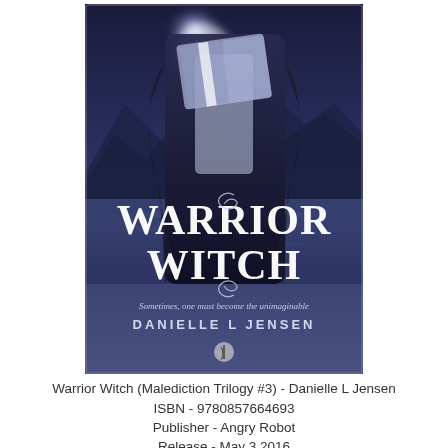[Figure (illustration): Book cover for 'Warrior Witch' by Danielle L Jensen. Dark fantasy cover showing a figure in a blue/purple cloak holding an open glowing book, with a misty lake and mountain background. Large white serif text reads 'WARRIOR WITCH'. Subtitle reads 'Sometimes, one must become the unimaginable'. Author name 'DANIELLE L JENSEN' at bottom. Small publisher logo at bottom center.]
Warrior Witch (Malediction Trilogy #3) - Danielle L Jensen
ISBN - 9780857664693
Publisher - Angry Robot
Release - May 3 2016
Find - Goodreads | Book Repository